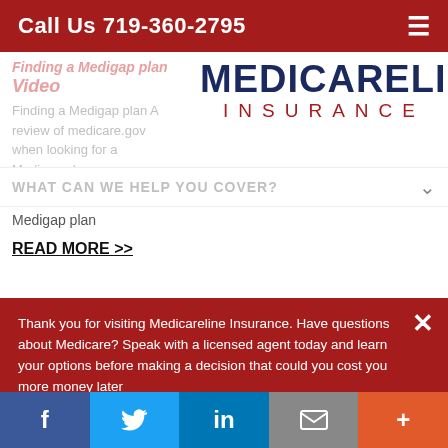Call Us 719-360-2795
[Figure (logo): Medicareline Insurance logo — MEDICARELINE in large dark navy bold text, INSURANCE in spaced red letters below]
Finding a Medigap plan Video
Finding a Medigap plan A review of medicare.gov when looking for a Medigap plan
WHAT CAN WE HELP YOU COVER?
Medigap plan
READ MORE >>
1 2 3 4 5 6 7 Next Last
Thank you for visiting Medicareline Insurance. Have questions about Medicare? Speak with a licensed agent today and learn your options before making a decision that could you cost you more money later